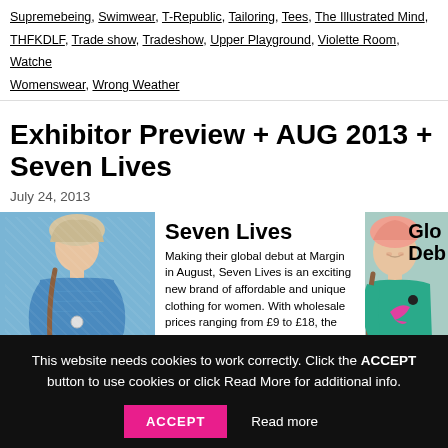Supremebeing, Swimwear, T-Republic, Tailoring, Tees, The Illustrated Mind, THFKDLF, Trade show, Tradeshow, Upper Playground, Violette Room, Watches, Womenswear, Wrong Weather
Exhibitor Preview + AUG 2013 + Seven Lives
July 24, 2013
[Figure (photo): Fashion article image showing two women models and text block. Left: woman in blue knit outfit with braided hair. Center text: 'Seven Lives - Making their global debut at Margin in August, Seven Lives is an exciting new brand of affordable and unique clothing for women. With wholesale prices ranging from £9 to £18, the debut collection offers dresses, skirts, shorts, tops,' Right: woman in teal t-shirt with braided hair and pink beanie, partially cropped text 'Glo Deb']
This website needs cookies to work correctly. Click the ACCEPT button to use cookies or click Read More for additional info.